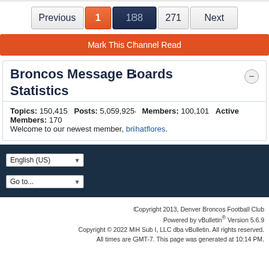Last Post by Charlie Brown 08-08-2011, 01:08 PM
Previous  1  188  271  Next
Mark This Channel Read
Broncos Message Boards Statistics
Topics: 150,415   Posts: 5,059,925   Members: 100,101   Active Members: 170
Welcome to our newest member, brihatflores.
English (US)   Go to...
Copyright 2013, Denver Broncos Football Club
Powered by vBulletin® Version 5.6.9
Copyright © 2022 MH Sub I, LLC dba vBulletin. All rights reserved.
All times are GMT-7. This page was generated at 10:14 PM.